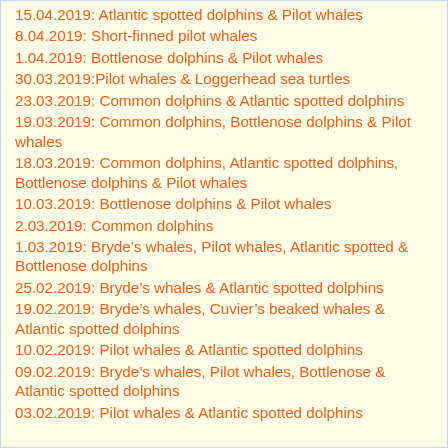15.04.2019: Atlantic spotted dolphins & Pilot whales
8.04.2019: Short-finned pilot whales
1.04.2019: Bottlenose dolphins & Pilot whales
30.03.2019: Pilot whales & Loggerhead sea turtles
23.03.2019: Common dolphins & Atlantic spotted dolphins
19.03.2019: Common dolphins, Bottlenose dolphins & Pilot whales
18.03.2019: Common dolphins, Atlantic spotted dolphins, Bottlenose dolphins & Pilot whales
10.03.2019: Bottlenose dolphins & Pilot whales
2.03.2019: Common dolphins
1.03.2019: Bryde’s whales, Pilot whales, Atlantic spotted & Bottlenose dolphins
25.02.2019: Bryde’s whales & Atlantic spotted dolphins
19.02.2019: Bryde’s whales, Cuvier’s beaked whales & Atlantic spotted dolphins
10.02.2019: Pilot whales & Atlantic spotted dolphins
09.02.2019: Bryde’s whales, Pilot whales, Bottlenose & Atlantic spotted dolphins
03.02.2019: Pilot whales & Atlantic spotted dolphins